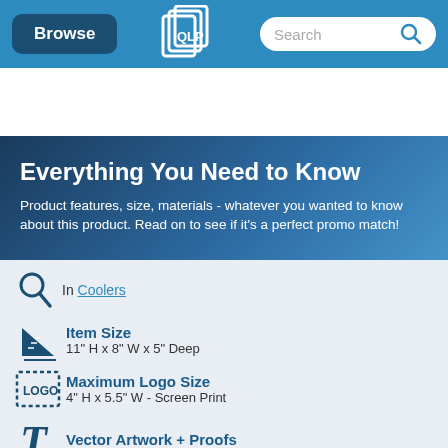Browse | [Logo] | Search
Everything You Need to Know
Product features, size, materials - whatever you wanted to know about this product. Read on to see if it's a perfect promo match!
In Coolers
Item Size
11" H x 8" W x 5" Deep
Maximum Logo Size
4" H x 5.5" W - Screen Print
Vector Artwork + Proofs